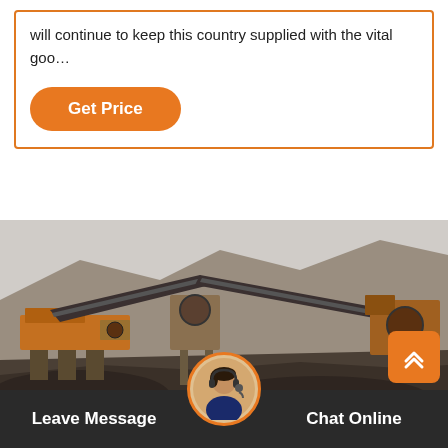will continue to keep this country supplied with the vital goo…
Get Price
[Figure (photo): Mining/quarrying site with heavy orange machinery, conveyor belts, and large piles of crushed rock or ore, set against a rocky hillside background.]
Leave Message
Chat Online